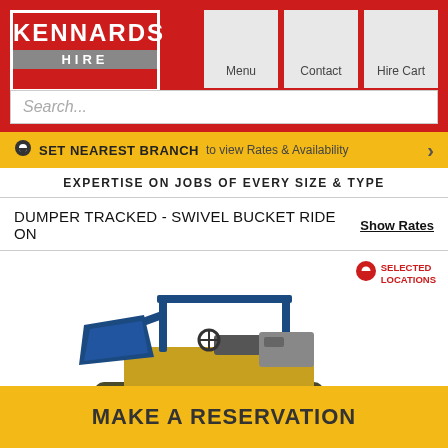[Figure (logo): Kennards Hire logo - white text on red background with grey HIRE bar]
[Figure (screenshot): Navigation buttons: Menu, Contact, Hire Cart on light grey background]
Search...
SET NEAREST BRANCH to view Rates & Availability
EXPERTISE ON JOBS OF EVERY SIZE & TYPE
DUMPER TRACKED - SWIVEL BUCKET RIDE ON
Show Rates
[Figure (photo): Blue tracked dumper with swivel bucket, ride-on operator platform, ROPS frame]
SELECTED LOCATIONS
MAKE A RESERVATION